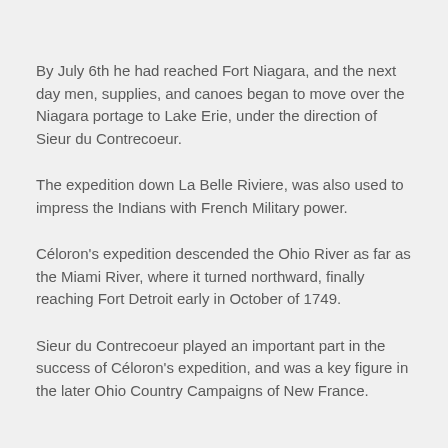By July 6th he had reached Fort Niagara, and the next day men, supplies, and canoes began to move over the Niagara portage to Lake Erie, under the direction of Sieur du Contrecoeur.
The expedition down La Belle Riviere, was also used to impress the Indians with French Military power.
Céloron's expedition descended the Ohio River as far as the Miami River, where it turned northward, finally reaching Fort Detroit early in October of 1749.
Sieur du Contrecoeur played an important part in the success of Céloron's expedition, and was a key figure in the later Ohio Country Campaigns of New France.